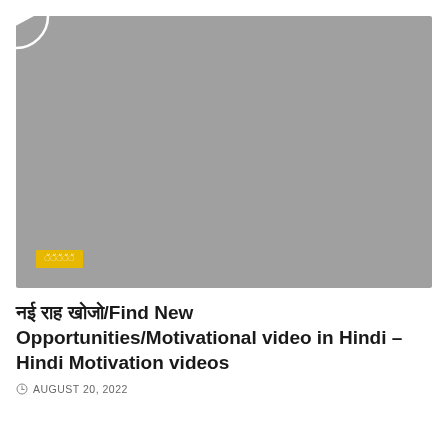[Figure (screenshot): Video thumbnail placeholder with gray background and white circular play button in the center. A yellow category label with Hindi text is in the bottom-left corner.]
नई राह खोजो/Find New Opportunities/Motivational video in Hindi – Hindi Motivation videos
AUGUST 20, 2022